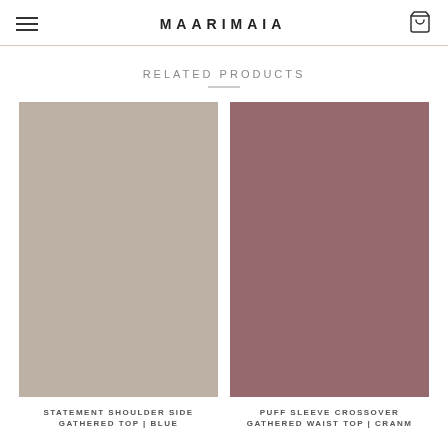MAARIMAIA
RELATED PRODUCTS
[Figure (photo): Product image placeholder – taupe/beige color swatch for Statement Shoulder Side Gathered Top]
STATEMENT SHOULDER SIDE GATHERED TOP | BLUE
[Figure (photo): Product image placeholder – dusty rose/mauve color swatch for Puff Sleeve Crossover Gathered Waist Top]
PUFF SLEEVE CROSSOVER GATHERED WAIST TOP | CRANM